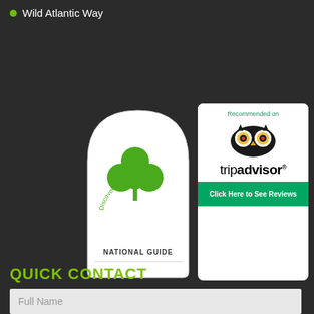Wild Atlantic Way
[Figure (logo): Discover Ireland National Guide badge - white background with arched top, green shamrock logo, 'Discover Ireland' text in arc, 'NATIONAL GUIDE' text at bottom]
[Figure (logo): TripAdvisor 'Recommended on' badge with owl logo, tripadvisor text, and green 'Click Here to See Reviews' button]
[Figure (logo): Discover Ireland badge - blue circular top with green shamrock, 'Discover Ireland' text arc, white rectangular bottom with horizontal lines]
QUICK CONTACT
Full Name